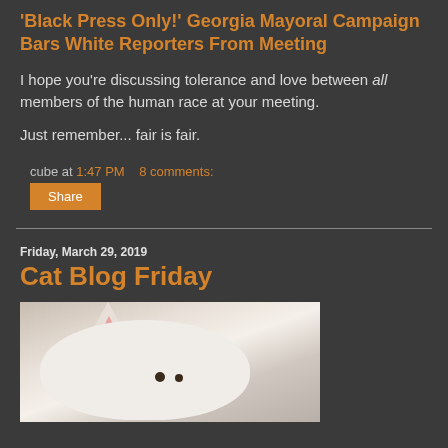'Black Press Only!' Georgia Mayoral Campaign Bars White Reporters From Meeting
I hope you're discussing tolerance and love between all members of the human race at your meeting.
Just remember... fair is fair.
cube at 1:47 PM    8 comments:
Share
Friday, March 29, 2019
Cat Blog Friday
[Figure (photo): Close-up photo of a white cat's face, showing the ear and facial markings with small dark spots visible]